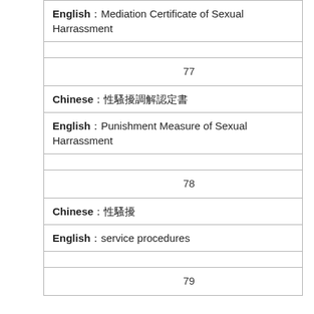| English：Mediation Certificate of Sexual Harrassment |
|  |
| 　　　77 |
| Chinese：性騷擾調解認定書 |
| English：Punishment Measure of Sexual Harrassment |
|  |
| 　　　78 |
| Chinese：性騷擾 |
| English：service procedures |
|  |
| 　　　79 |